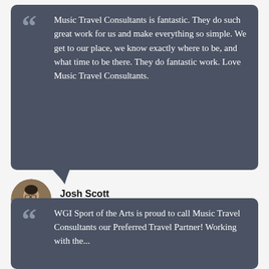Music Travel Consultants is fantastic. They do such great work for us and make everything so simple. We get to our place, we know exactly where to be, and what time to be there. They do fantastic work. Love Music Travel Consultants.
[Figure (photo): Circular avatar photo of Josh Scott]
Josh Scott
Round Rock HS
WGI Sport of the Arts is proud to call Music Travel Consultants our Preferred Travel Partner! Working with the...